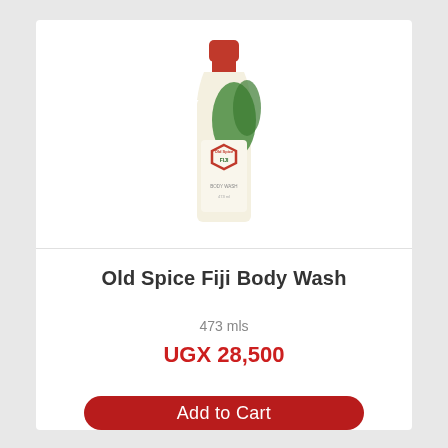[Figure (photo): Old Spice Fiji Body Wash bottle — tall bottle with red cap, cream/white body with tropical green leaf design and Old Spice logo badge]
Old Spice Fiji Body Wash
473 mls
UGX 28,500
Add to Cart